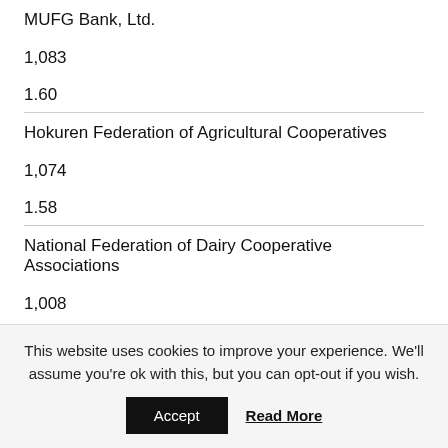MUFG Bank, Ltd.
1,083
1.60
Hokuren Federation of Agricultural Cooperatives
1,074
1.58
National Federation of Dairy Cooperative Associations
1,008
1.48
This website uses cookies to improve your experience. We'll assume you're ok with this, but you can opt-out if you wish.
Accept
Read More